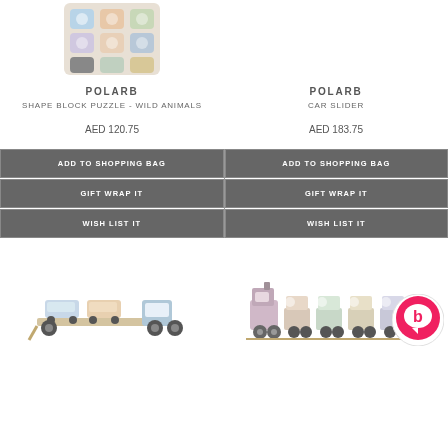[Figure (photo): Shape block puzzle wild animals toy from top area (partially visible)]
POLARB
SHAPE BLOCK PUZZLE - WILD ANIMALS
AED 120.75
POLARB
CAR SLIDER
AED 183.75
ADD TO SHOPPING BAG
GIFT WRAP IT
WISH LIST IT
ADD TO SHOPPING BAG
GIFT WRAP IT
WISH LIST IT
[Figure (photo): Wooden car slider toy (truck with cars on carrier)]
[Figure (photo): Wooden animal train toy with multiple carriages]
[Figure (logo): Chat bubble 'b' logo overlay in bottom right]